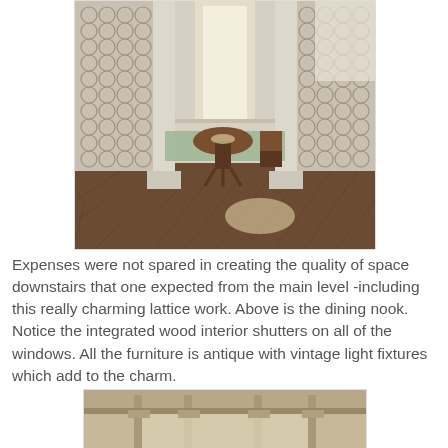[Figure (photo): Interior dining nook with lattice work panels, columns, round pedestal table, bench seating, and hardwood herringbone floor. Natural light comes from a window in the background.]
Expenses were not spared in creating the quality of space downstairs that one expected from the main level -including this really charming lattice work. Above is the dining nook. Notice the integrated wood interior shutters on all of the windows. All the furniture is antique with vintage light fixtures which add to the charm.
[Figure (photo): Interior architectural detail showing columns and a ceiling or overhead structure in a neutral beige/tan tone.]